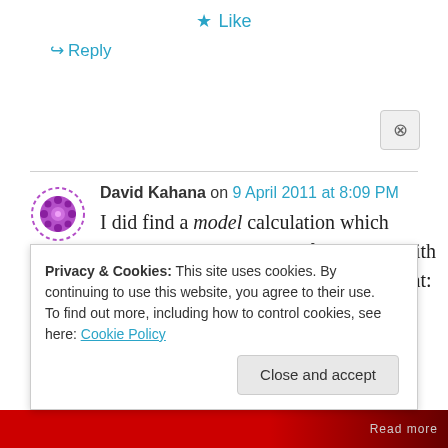★ Like
↪ Reply
David Kahana on 9 April 2011 at 8:09 PM
I did find a model calculation which examines such a scenario for a BWR with Mark I containment, in a severe accident: short term
Privacy & Cookies: This site uses cookies. By continuing to use this website, you agree to their use.
To find out more, including how to control cookies, see here: Cookie Policy
Close and accept